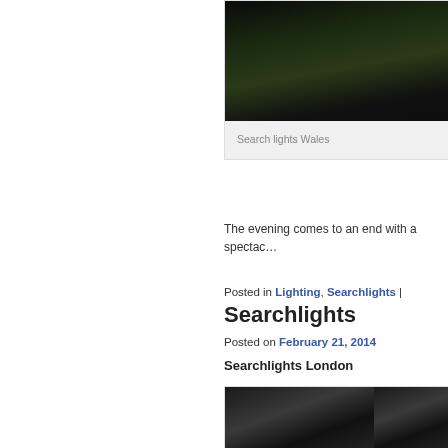[Figure (photo): Dark nighttime crowd photo, searchlights Wales]
Search lights Wales
The evening comes to an end with a spectac…
Posted in Lighting, Searchlights |
Searchlights
Posted on February 21, 2014
Searchlights London
Searchlights at Emirates Football Stad…
14 High Powered 8KW Searchlights were us… Emirates Football Stadium shooting massive…
[Figure (photo): Two dark nighttime photos side by side at bottom of page]